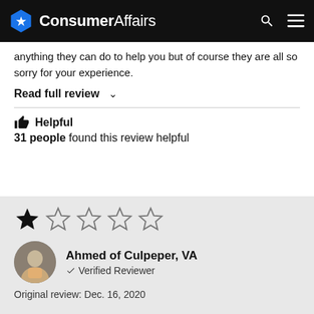ConsumerAffairs
anything they can do to help you but of course they are all so sorry for your experience.
Read full review ∨
👍 Helpful
31 people found this review helpful
[Figure (other): 1 out of 5 stars rating — one filled star and four empty stars]
Ahmed of Culpeper, VA
✓ Verified Reviewer
Original review: Dec. 16, 2020